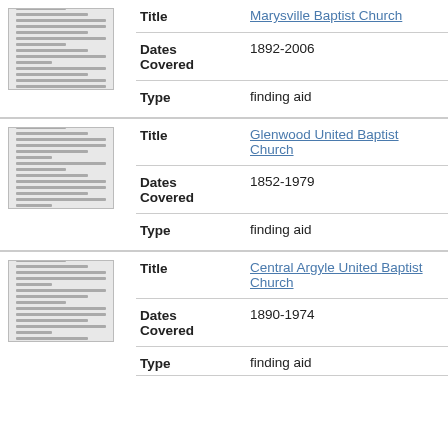| Thumbnail | Field | Value |
| --- | --- | --- |
| [image] | Title | Marysville Baptist Church |
|  | Dates Covered | 1892-2006 |
|  | Type | finding aid |
| [image] | Title | Glenwood United Baptist Church |
|  | Dates Covered | 1852-1979 |
|  | Type | finding aid |
| [image] | Title | Central Argyle United Baptist Church |
|  | Dates Covered | 1890-1974 |
|  | Type | finding aid |